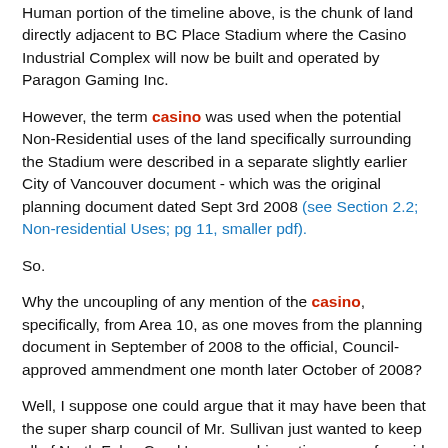Human portion of the timeline above, is the chunk of land directly adjacent to BC Place Stadium where the Casino Industrial Complex will now be built and operated by Paragon Gaming Inc.
However, the term casino was used when the potential Non-Residential uses of the land specifically surrounding the Stadium were described in a separate slightly earlier City of Vancouver document - which was the original planning document dated Sept 3rd 2008 (see Section 2.2; Non-residential Uses; pg 11, smaller pdf).
So.
Why the uncoupling of any mention of the casino, specifically, from Area 10, as one moves from the planning document in September of 2008 to the official, Council-approved ammendment one month later October of 2008?
Well, I suppose one could argue that it may have been that the super sharp council of Mr. Sullivan just wanted to keep all of North False Creek's geographic options open for said casino.